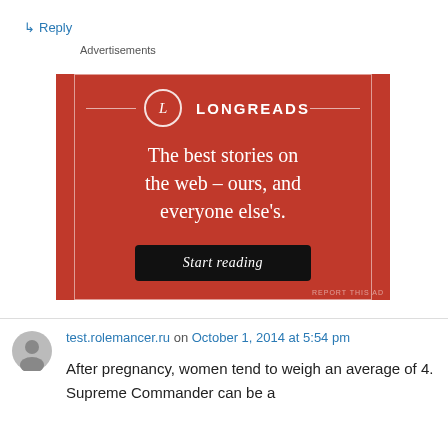↳ Reply
Advertisements
[Figure (illustration): Longreads advertisement banner on red background with tagline 'The best stories on the web – ours, and everyone else's.' and a 'Start reading' button.]
test.rolemancer.ru on October 1, 2014 at 5:54 pm
After pregnancy, women tend to weigh an average of 4. Supreme Commander can be a